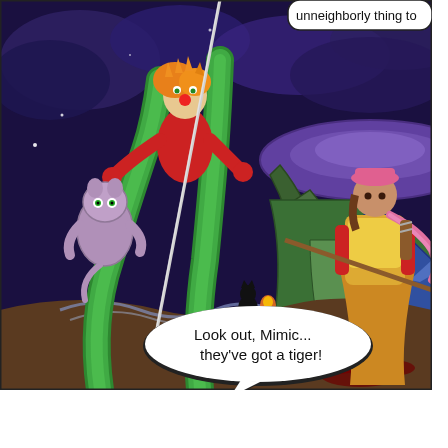[Figure (illustration): A webcomic panel set at night outdoors. A figure in red dressed as a clown/jester rides atop giant green serpentine tentacles/vines, holding a long pole or lance. A lavender/purple ferret or small animal with green eyes clings to one of the tentacles. In the background is a large purple disc/UFO shape and a green tent. On the right, a female archer character in yellow and brown armor with a pink scarf holds a spear/arrow pointed outward. There is a small dark silhouette figure in the middle ground. The ground has dark red blood stains. The sky is a deep purple-blue with clouds and stars. Two speech bubbles are present: one at the top right reading 'unneighborly thing to' (partial, cut off) and one at the bottom reading 'Look out, Mimic... they’ve got a tiger!']